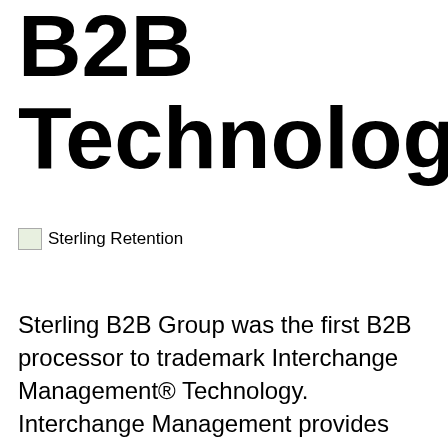B2B Technology
[Figure (logo): Sterling Retention logo with small landscape icon]
Sterling B2B Group was the first B2B processor to trademark Interchange Management® Technology. Interchange Management provides ongoing management of the sales entry process and data flow to automatically ensure your company qualifies for the best possible rates. We take the guesswork out of Level II, Level III and large-ticket reporting requirements. This